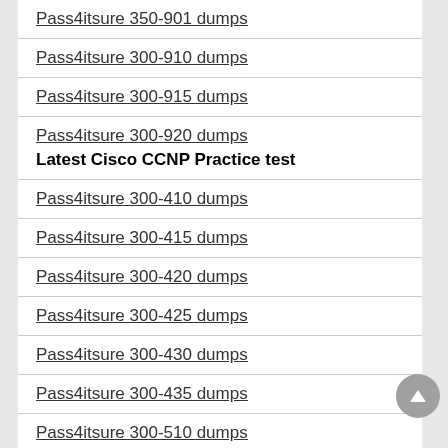Pass4itsure 350-901 dumps
Pass4itsure 300-910 dumps
Pass4itsure 300-915 dumps
Pass4itsure 300-920 dumps
Latest Cisco CCNP Practice test
Pass4itsure 300-410 dumps
Pass4itsure 300-415 dumps
Pass4itsure 300-420 dumps
Pass4itsure 300-425 dumps
Pass4itsure 300-430 dumps
Pass4itsure 300-435 dumps
Pass4itsure 300-510 dumps